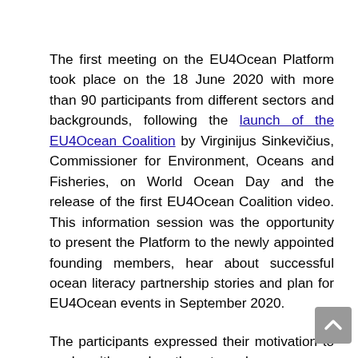The first meeting on the EU4Ocean Platform took place on the 18 June 2020 with more than 90 participants from different sectors and backgrounds, following the launch of the EU4Ocean Coalition by Virginijus Sinkevičius, Commissioner for Environment, Oceans and Fisheries, on World Ocean Day and the release of the first EU4Ocean Coalition video. This information session was the opportunity to present the Platform to the newly appointed founding members, hear about successful ocean literacy partnership stories and plan for EU4Ocean events in September 2020.
The participants expressed their motivation to work with each other to advance ocean literacy and develop concrete activities that will create real awareness, engagement and momentum across society for action and change. The EU4Ocean Platform...